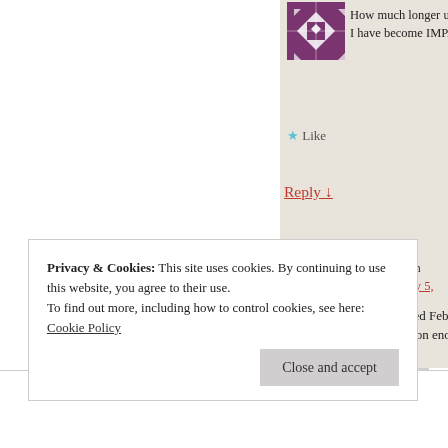[Figure (illustration): Purple patchwork quilt-style avatar icon]
How much longer until the se… I have become IMPATIENT! …
★ Like
Reply ↓
[Figure (illustration): Black and white geometric pattern avatar icon]
Daisy on February 5, 2014
🙂 It will be released Feb. 2… 25 can't get here soon enough!
★ Like
Privacy & Cookies: This site uses cookies. By continuing to use this website, you agree to their use.
To find out more, including how to control cookies, see here: Cookie Policy
Close and accept